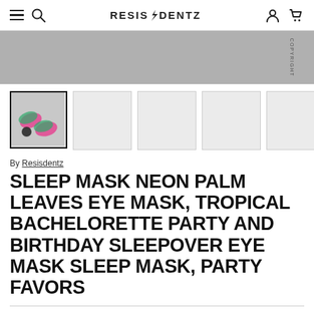RESISDENTZ — navigation bar with hamburger menu, search, account, and cart icons
[Figure (photo): Grey hero banner image area with COPYRIGHT watermark text rotated vertically on right side]
[Figure (photo): Thumbnail gallery row: first thumbnail shows neon pink and green palm leaf sleep mask product image (active/selected), followed by four empty grey placeholder thumbnails]
By Resisdentz
SLEEP MASK NEON PALM LEAVES EYE MASK, TROPICAL BACHELORETTE PARTY AND BIRTHDAY SLEEPOVER EYE MASK SLEEP MASK, PARTY FAVORS
Bulk Discount Pack (Total Number of Masks)
1